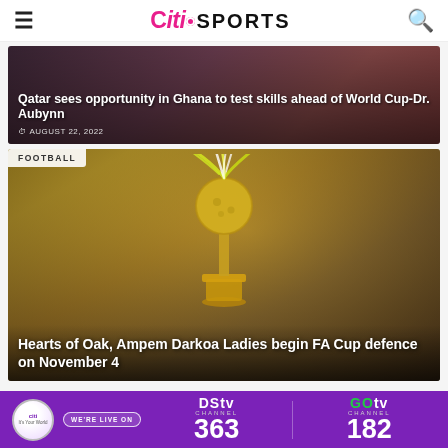Citi SPORTS
Qatar sees opportunity in Ghana to test skills ahead of World Cup-Dr. Aubynn
AUGUST 22, 2022
FOOTBALL
Hearts of Oak, Ampem Darkoa Ladies begin FA Cup defence on November 4
[Figure (photo): Ad banner for Citi Sports showing DStv Channel 363 and GOtv Channel 182]